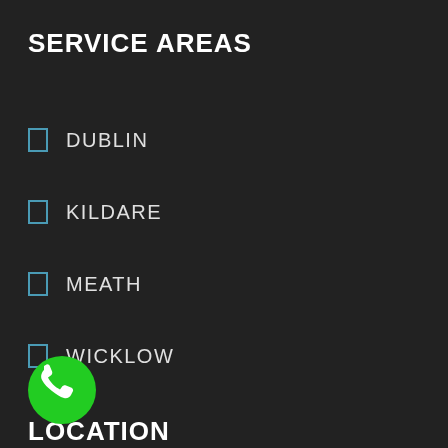SERVICE AREAS
DUBLIN
KILDARE
MEATH
WICKLOW
LOCATION
[Figure (illustration): Green circular phone call button with white telephone handset icon]